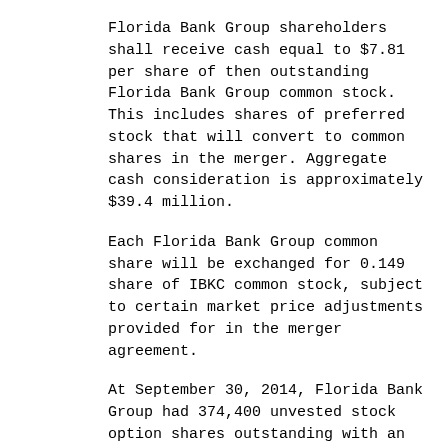Florida Bank Group shareholders shall receive cash equal to $7.81 per share of then outstanding Florida Bank Group common stock. This includes shares of preferred stock that will convert to common shares in the merger. Aggregate cash consideration is approximately $39.4 million.
Each Florida Bank Group common share will be exchanged for 0.149 share of IBKC common stock, subject to certain market price adjustments provided for in the merger agreement.
At September 30, 2014, Florida Bank Group had 374,400 unvested stock option shares outstanding with an exercise price of $7.74 per share. Florida Bank Group stock options and warrants that remain outstanding immediately prior to closing, whether or not vested, will be cashed out at consummation of the merger. Based on IBKC's closing stock price on October 2, 2014, of $62.61, the cash value for optional shares would be $3.5 million.
IBKC's capital ratios will be slightly reduced due to this